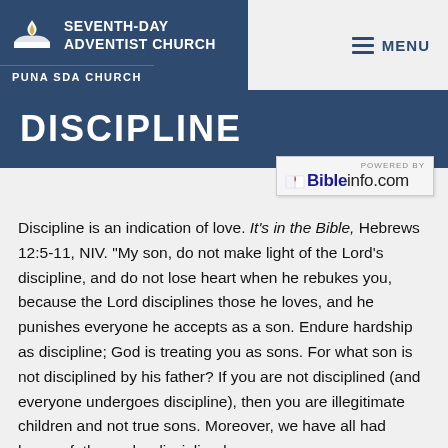Seventh-day Adventist Church — Puna SDA Church
DISCIPLINE
[Figure (logo): Bibleinfo.com powered by logo badge]
Discipline is an indication of love. It's in the Bible, Hebrews 12:5-11, NIV. "My son, do not make light of the Lord's discipline, and do not lose heart when he rebukes you, because the Lord disciplines those he loves, and he punishes everyone he accepts as a son. Endure hardship as discipline; God is treating you as sons. For what son is not disciplined by his father? If you are not disciplined (and everyone undergoes discipline), then you are illegitimate children and not true sons. Moreover, we have all had human fathers who disciplined us